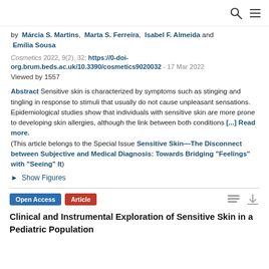by Márcia S. Martins, Marta S. Ferreira, Isabel F. Almeida and Emília Sousa
Cosmetics 2022, 9(2), 32; https://0-doi-org.brum.beds.ac.uk/10.3390/cosmetics9020032 - 17 Mar 2022
Viewed by 1557
Abstract Sensitive skin is characterized by symptoms such as stinging and tingling in response to stimuli that usually do not cause unpleasant sensations. Epidemiological studies show that individuals with sensitive skin are more prone to developing skin allergies, although the link between both conditions [...] Read more.
(This article belongs to the Special Issue Sensitive Skin—The Disconnect between Subjective and Medical Diagnosis: Towards Bridging "Feelings" with "Seeing" It)
► Show Figures
Open Access  Article
Clinical and Instrumental Exploration of Sensitive Skin in a Pediatric Population